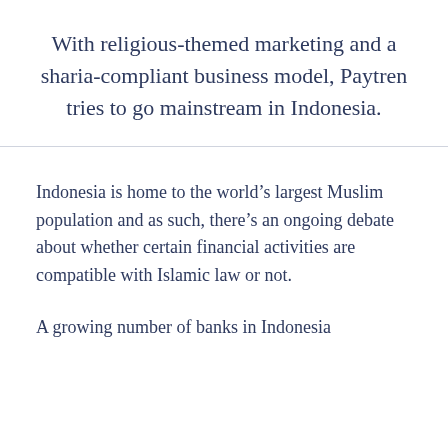With religious-themed marketing and a sharia-compliant business model, Paytren tries to go mainstream in Indonesia.
Indonesia is home to the world’s largest Muslim population and as such, there’s an ongoing debate about whether certain financial activities are compatible with Islamic law or not.
A growing number of banks in Indonesia